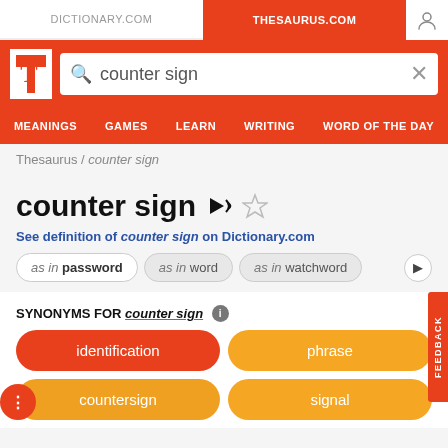DICTIONARY.COM | THESAURUS.COM
[Figure (screenshot): Thesaurus.com website screenshot showing search for 'counter sign' with synonyms including identification, countersign, phrase, signal]
Thesaurus / counter sign
counter sign
See definition of counter sign on Dictionary.com
as in password | as in word | as in watchword
SYNONYMS FOR counter sign
identification
phrase
countersign
signal